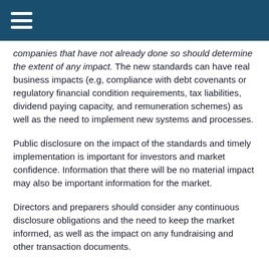companies that have not already done so should determine the extent of any impact.  The new standards can have real business impacts (e.g, compliance with debt covenants or regulatory financial condition requirements, tax liabilities, dividend paying capacity, and remuneration schemes) as well as the need to implement new systems and processes.
Public disclosure on the impact of the standards and timely implementation is important for investors and market confidence.  Information that there will be no material impact may also be important information for the market.
Directors and preparers should consider any continuous disclosure obligations and the need to keep the market informed, as well as the impact on any fundraising and other transaction documents.